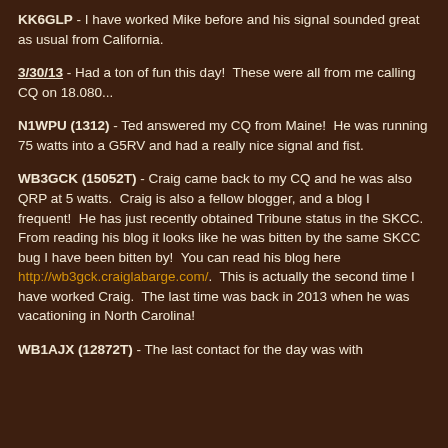KK6GLP - I have worked Mike before and his signal sounded great as usual from California.
3/30/13 - Had a ton of fun this day!  These were all from me calling CQ on 18.080...
N1WPU (1312) - Ted answered my CQ from Maine!  He was running 75 watts into a G5RV and had a really nice signal and fist.
WB3GCK (15052T) - Craig came back to my CQ and he was also QRP at 5 watts.  Craig is also a fellow blogger, and a blog I frequent!  He has just recently obtained Tribune status in the SKCC.  From reading his blog it looks like he was bitten by the same SKCC bug I have been bitten by!  You can read his blog here http://wb3gck.craiglabarge.com/.  This is actually the second time I have worked Craig.  The last time was back in 2013 when he was vacationing in North Carolina!
WB1AJX (12872T) - The last contact for the day was with ...